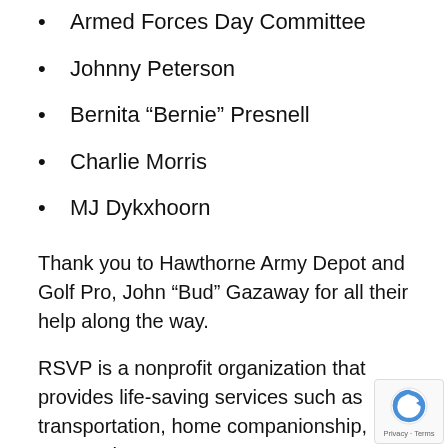Armed Forces Day Committee
Johnny Peterson
Bernita “Bernie” Presnell
Charlie Morris
MJ Dykxhoorn
Thank you to Hawthorne Army Depot and Golf Pro, John “Bud” Gazaway for all their help along the way.
RSVP is a nonprofit organization that provides life-saving services such as transportation, home companionship, Personal Emergency Response Systems, and many more enriching programs for clients in Mineral County and throughout rural